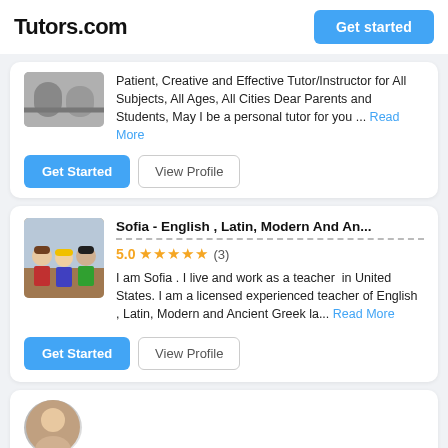Tutors.com | Get started
Patient, Creative and Effective Tutor/Instructor for All Subjects, All Ages, All Cities Dear Parents and Students, May I be a personal tutor for you ... Read More
Get Started | View Profile
Sofia - English , Latin, Modern And An...
5.0 ★★★★★ (3)
I am Sofia . I live and work as a teacher  in United States. I am a licensed experienced teacher of English , Latin, Modern and Ancient Greek la... Read More
Get Started | View Profile